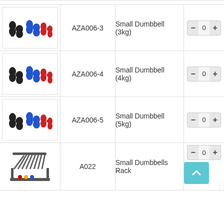| Image | Code | Name | Qty |
| --- | --- | --- | --- |
| [dumbbell image] | AZA006-3 | Small Dumbbell (3kg) | 0 |
| [dumbbell image] | AZA006-4 | Small Dumbbell (4kg) | 0 |
| [dumbbell image] | AZA006-5 | Small Dumbbell (5kg) | 0 |
| [rack image] | A022 | Small Dumbbells Rack | 0 |